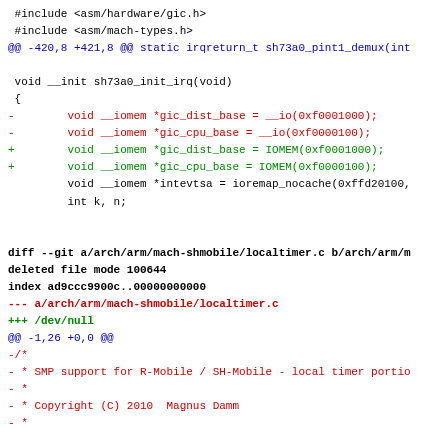Diff/patch code showing Git diff for sh73a0 IRQ init and localtimer deletion